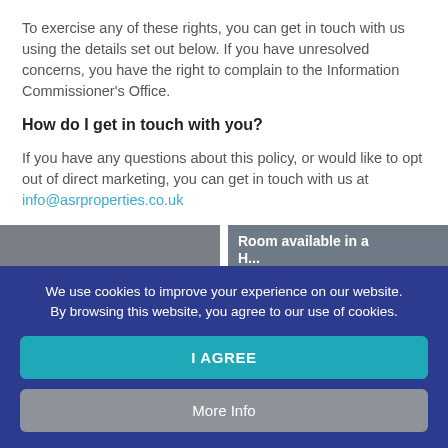To exercise any of these rights, you can get in touch with us using the details set out below. If you have unresolved concerns, you have the right to complain to the Information Commissioner's Office.
How do I get in touch with you?
If you have any questions about this policy, or would like to opt out of direct marketing, you can get in touch with us at info@asrproperties.co.uk
We use cookies to improve your experience on our website. By browsing this website, you agree to our use of cookies.
I AGREE
More Info